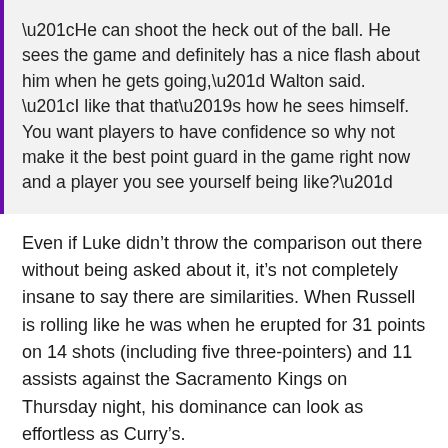“He can shoot the heck out of the ball. He sees the game and definitely has a nice flash about him when he gets going,” Walton said. “I like that that’s how he sees himself. You want players to have confidence so why not make it the best point guard in the game right now and a player you see yourself being like?”
Even if Luke didn’t throw the comparison out there without being asked about it, it’s not completely insane to say there are similarities. When Russell is rolling like he was when he erupted for 31 points on 14 shots (including five three-pointers) and 11 assists against the Sacramento Kings on Thursday night, his dominance can look as effortless as Curry’s.
[Figure (screenshot): Twitter/X embed card showing NBA logo and verified checkmark, with Twitter bird icon on the right]